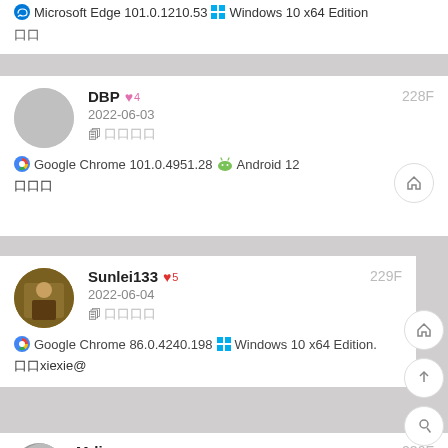Microsoft Edge 101.0.1210.53 Windows 10 x64 Edition
口口
DBP ♥4  228F
2022-06-03
口 口口口口
Google Chrome 101.0.4951.28 Android 12
口口口
Sunlei133 ♥5  229?
2022-06-04
口 口口口口
Google Chrome 86.0.4240.198 Windows 10 x64 Edition.
口口xiexie@
Mrli ♥5  230F
2022-06-13
口 口口口口